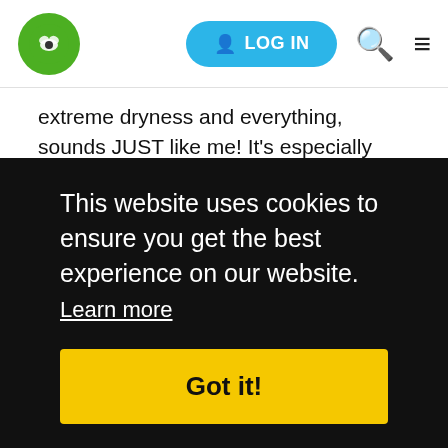LOG IN [navigation bar with logo, search, and menu icons]
extreme dryness and everything, sounds JUST like me! It's especially bad on my legs, arms, feet, & hands. I tried several OTC things, with mixed results (some actually made it worse!) Then I found plain old organic cold-pressed coconut oil - I had bought it to cook with because of its health benefits (my A1c's & cholesterol labs do keep slowly improving!) but then I read how great it was for skin, and it sure works for me! The only defoliating I do is scrubbing the really dry bits with a washcloth or a shower puff while in the [obscured] t oil, [obscured] ore of [obscured] try [obscured] onut [obscured] like a
This website uses cookies to ensure you get the best experience on our website.
Learn more
Got it!